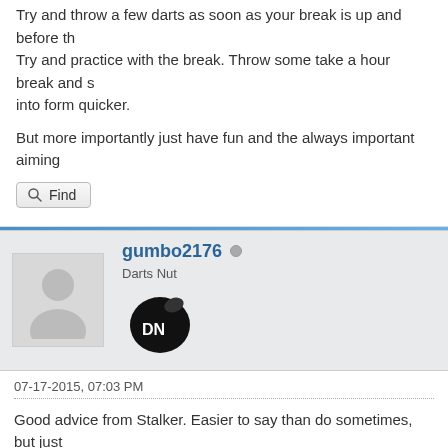Try and throw a few darts as soon as your break is up and before th... Try and practice with the break. Throw some take a hour break and s... into form quicker.
But more importantly just have fun and the always important aiming...
Find
gumbo2176
Darts Nut
07-17-2015, 07:03 PM
Good advice from Stalker. Easier to say than do sometimes, but just... clicked your user name and see you are in Florida, so I assume your... to pay attention to what your opponent does as it dictates what you s...
If your league is like ours, some bars have room for a board that is n... some guys will jump up between match segments when the teams a... the board prior to corking in your match. Not much to loosen up with...